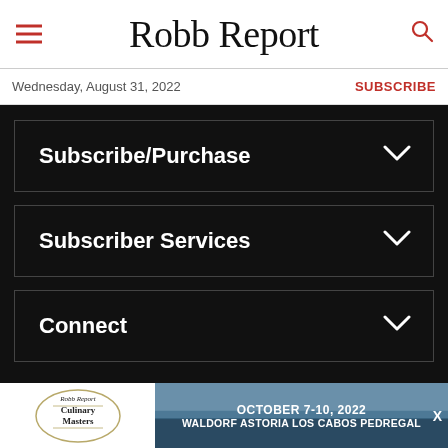Robb Report
Wednesday, August 31, 2022
SUBSCRIBE
Subscribe/Purchase
Subscriber Services
Connect
Robb Report
Robb Report is a part of Penske Media Corporation. © 2022 Robb Report Media, LLC. All Rights Reserved.
[Figure (photo): Advertisement banner for Robb Report Culinary Masters event, October 7-10, 2022 at Waldorf Astoria Los Cabos Pedregal. Left side shows a circular logo with 'Robb Report Culinary Masters' text. Right side shows a scenic outdoor photo with overlaid text.]